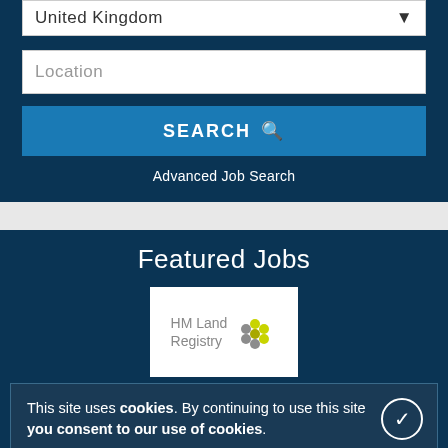United Kingdom
Location
SEARCH
Advanced Job Search
Featured Jobs
[Figure (logo): HM Land Registry logo with yellow and grey hexagonal pattern]
Service Design and Transition Analyst
Plymouth • £38,552 to £48,601
This site uses cookies. By continuing to use this site you consent to our use of cookies.
[Figure (logo): UNICEF logo on blue strip]